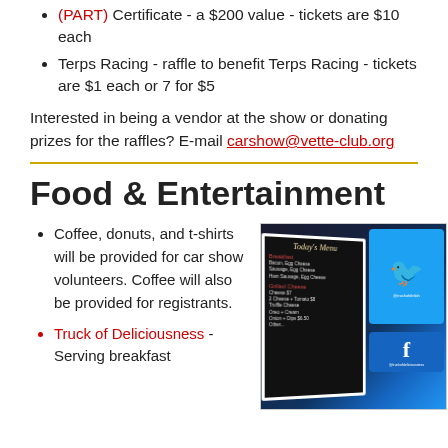(PART) Certificate - a $200 value - tickets are $10 each
Terps Racing - raffle to benefit Terps Racing - tickets are $1 each or 7 for $5
Interested in being a vendor at the show or donating prizes for the raffles? E-mail carshow@vette-club.org
Food & Entertainment
Coffee, donuts, and t-shirts will be provided for car show volunteers. Coffee will also be provided for registrants.
[Figure (photo): A chalkboard menu sign showing Today's Menu with breakfast items, and a blue social media card showing Twitter bird logo and Facebook logo with handles @truckofdelish and @truckofdeliciousness]
Truck of Deliciousness - Serving breakfast